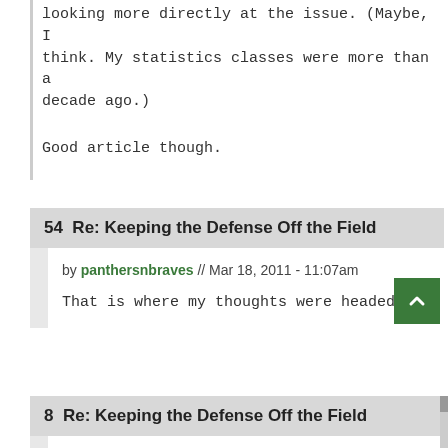looking more directly at the issue. (Maybe, I think. My statistics classes were more than a decade ago.)
Good article though.
54  Re: Keeping the Defense Off the Field
by panthersnbraves // Mar 18, 2011 - 11:07am
That is where my thoughts were headed.
8  Re: Keeping the Defense Off the Field